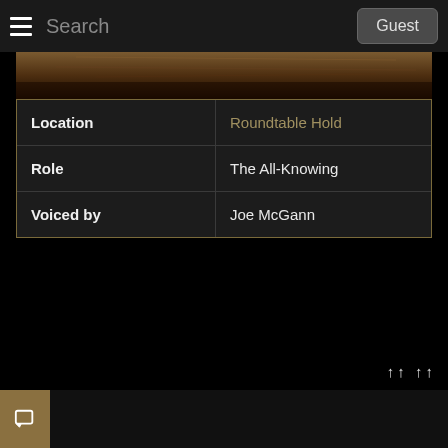Search  Guest
[Figure (photo): Partial image of a character or scene from Elden Ring, showing warm brown tones]
| Location | Roundtable Hold |
| Role | The All-Knowing |
| Voiced by | Joe McGann |
↑↑ ↑↑